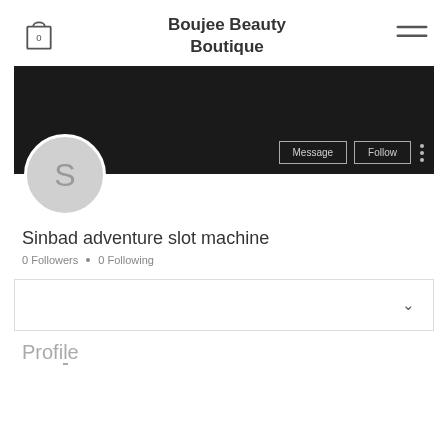[Figure (screenshot): Website header with shopping bag icon showing 0 items, site title 'Boujee Beauty Boutique', and hamburger menu icon]
Boujee Beauty Boutique
[Figure (screenshot): User profile section with dark banner, avatar circle with letter S, Message and Follow buttons, three-dot menu, username 'Sinbad adventure slot machine', 0 Followers, 0 Following, a dropdown box with chevron, and partial 'Profile' section header]
Sinbad adventure slot machine
0 Followers • 0 Following